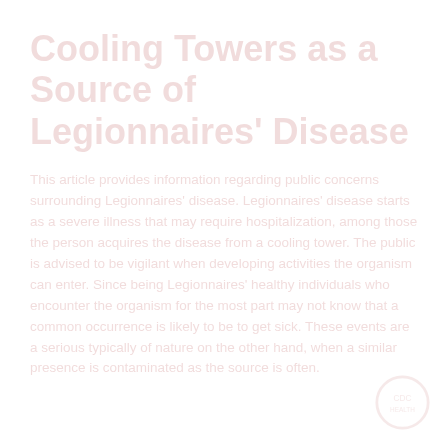Cooling Towers as a Source of Legionnaires' Disease
This article provides information regarding public concerns surrounding Legionnaires' disease. Legionnaires' disease starts as a severe illness that may require hospitalization, among those the person acquires the disease from a cooling tower. The public is advised to be vigilant when developing activities the organism can enter. Since being Legionnaires' healthy individuals who encounter the organism for the most part may not know that a common occurrence is likely to be to get sick. These events are a serious typically of nature on the other hand, when a similar presence is contaminated as the source is often.